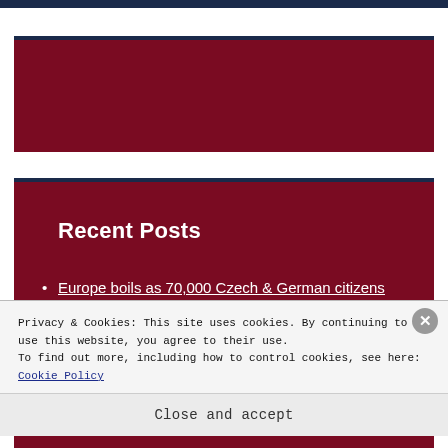[Figure (other): Dark maroon advertisement banner block with navy blue top border]
Recent Posts
Europe boils as 70,000 Czech & German citizens protest Russian sanctions (video)
Top 5 Hottest Popular Nigerian Songs of
Privacy & Cookies: This site uses cookies. By continuing to use this website, you agree to their use.
To find out more, including how to control cookies, see here: Cookie Policy
Close and accept